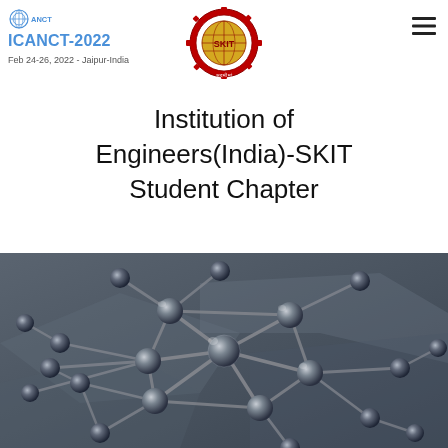[Figure (logo): ANCT logo top left]
ICANCT-2022
Feb 24-26, 2022 - Jaipur-India
[Figure (logo): SKIT institution logo - red and gold gear/globe emblem]
Institution of Engineers(India)-SKIT Student Chapter
[Figure (photo): Close-up macro photo of a molecular structure model with metallic spheres connected by rods in a hexagonal lattice pattern, dark grey/blue toned background]